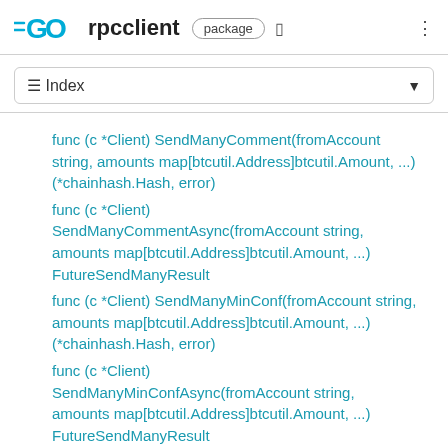GO rpccclient package
≡ Index
func (c *Client) SendManyComment(fromAccount string, amounts map[btcutil.Address]btcutil.Amount, ...) (*chainhash.Hash, error)
func (c *Client) SendManyCommentAsync(fromAccount string, amounts map[btcutil.Address]btcutil.Amount, ...) FutureSendManyResult
func (c *Client) SendManyMinConf(fromAccount string, amounts map[btcutil.Address]btcutil.Amount, ...) (*chainhash.Hash, error)
func (c *Client) SendManyMinConfAsync(fromAccount string, amounts map[btcutil.Address]btcutil.Amount, ...) FutureSendManyResult
func (c *Client) SendRawTransaction(tx